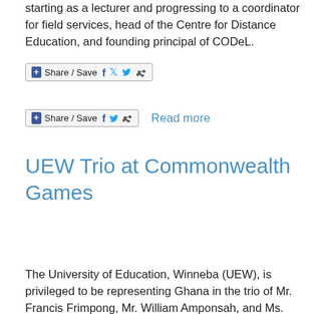starting as a lecturer and progressing to a coordinator for field services, head of the Centre for Distance Education, and founding principal of CODeL.
[Figure (screenshot): Share / Save button with Facebook, Twitter, and share icons]
[Figure (screenshot): Share / Save button with Facebook, Twitter, and share icons, followed by 'Read more' link]
UEW Trio at Commonwealth Games
The University of Education, Winneba (UEW), is privileged to be representing Ghana in the trio of Mr. Francis Frimpong, Mr. William Amponsah, and Ms. Gifty